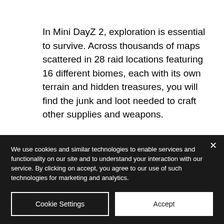In Mini DayZ 2, exploration is essential to survive. Across thousands of maps scattered in 28 raid locations featuring 16 different biomes, each with its own terrain and hidden treasures, you will find the junk and loot needed to craft other supplies and weapons.
We use cookies and similar technologies to enable services and functionality on our site and to understand your interaction with our service. By clicking on accept, you agree to our use of such technologies for marketing and analytics.
Cookie Settings
Accept